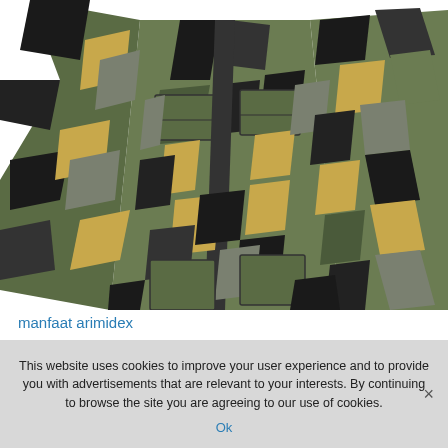[Figure (illustration): Illustrated camouflage military jacket/uniform torso, shown from front-left angle with green, khaki/tan, dark grey and black camouflage pattern. The figure has one arm raised. Vector/flat-art illustration style on white background.]
manfaat arimidex
This website uses cookies to improve your user experience and to provide you with advertisements that are relevant to your interests. By continuing to browse the site you are agreeing to our use of cookies.
Ok